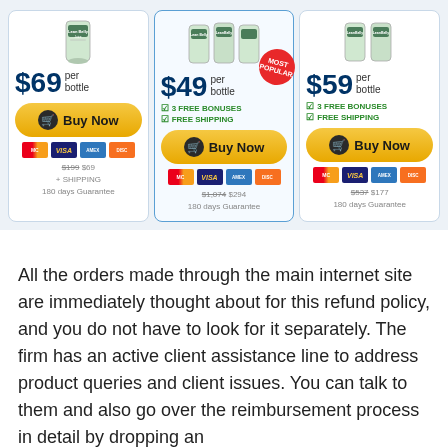[Figure (infographic): Three pricing cards for LeanBelly Juice supplement: $69/bottle (1 bottle), $49/bottle (6 bottles, most popular), $59/bottle (3 bottles). Each card shows product image, price, buy now button, payment icons, and guarantee info.]
All the orders made through the main internet site are immediately thought about for this refund policy, and you do not have to look for it separately. The firm has an active client assistance line to address product queries and client issues. You can talk to them and also go over the reimbursement process in detail by dropping an